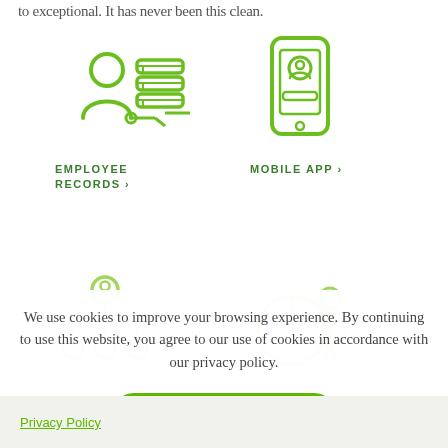to exceptional. It has never been this clean.
[Figure (illustration): Green outline icon of a person with database/server stacks behind them, connected by a line]
EMPLOYEE RECORDS ›
[Figure (illustration): Green outline icon of a smartphone with a profile/person icon on screen and a small home button]
MOBILE APP ›
[Figure (illustration): Green outline icon of a person with org-chart hierarchy beneath them]
[Figure (illustration): Green outline icon of a person holding a pie chart]
We use cookies to improve your browsing experience. By continuing to use this website, you agree to our use of cookies in accordance with our privacy policy.
Okay, thanks!
Privacy Policy